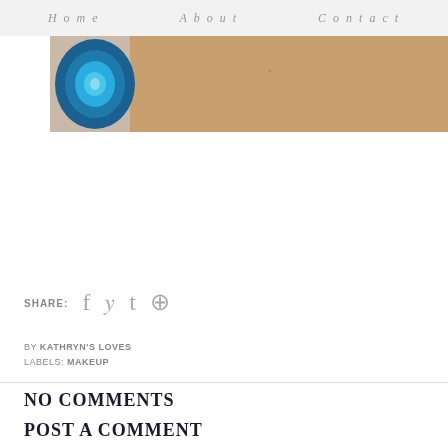Home   About   Contact
[Figure (photo): Cropped photo showing a blue agate stone on the left and a skin/arm on the right with a neutral background]
You can find them online at Too Face
All the Loves,
Kathryn xxx
SHARE:  f  t  p
BY KATHRYN'S LOVES
LABELS: MAKEUP
NO COMMENTS
POST A COMMENT